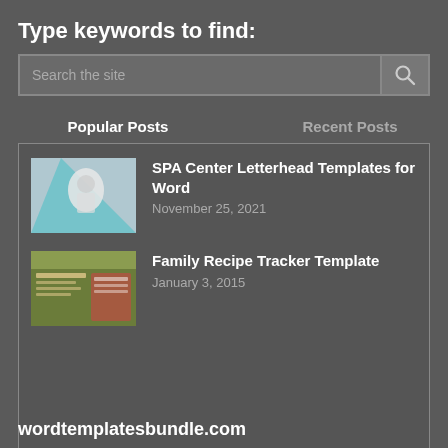Type keywords to find:
Search the site
Popular Posts
Recent Posts
SPA Center Letterhead Templates for Word
November 25, 2021
Family Recipe Tracker Template
January 3, 2015
wordtemplatesbundle.com